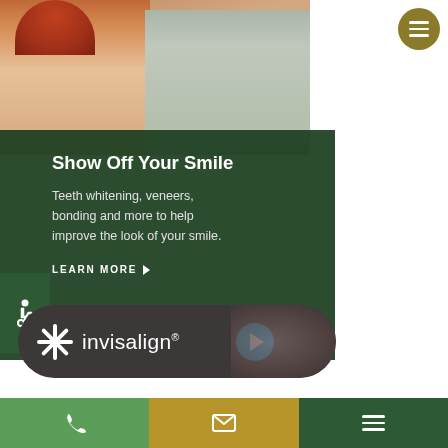[Figure (photo): Two people (a woman with red hair in a beige coat and a man in grey sweater) looking thoughtful, dental practice website hero image]
Show Off Your Smile
Teeth whitening, veneers, bonding and more to help improve the look of your smile.
LEARN MORE ▶
[Figure (logo): Invisalign logo banner with play button on dark rounded pill background]
Phone | Email | Menu navigation bar